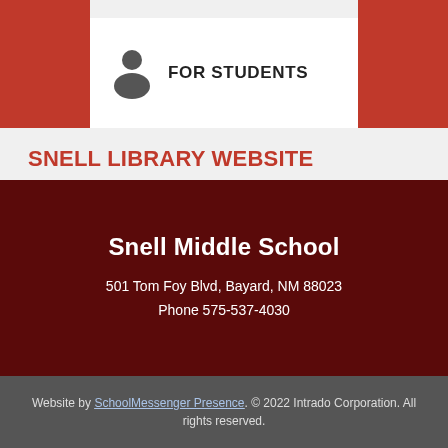FOR STUDENTS
SNELL LIBRARY WEBSITE
Snell Library
Snell Middle School
501 Tom Foy Blvd, Bayard, NM 88023
Phone 575-537-4030
Website by SchoolMessenger Presence. © 2022 Intrado Corporation. All rights reserved.